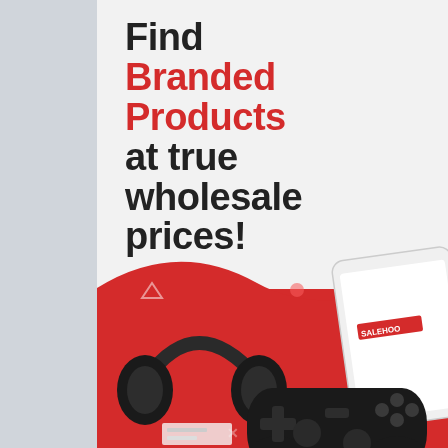Find Branded Products at true wholesale prices!
SEARCH NOW
[Figure (illustration): Red background with headphones, gaming controller, smartphone showing a sales app, and decorative shapes (triangles, stars, circles) on a red wave background]